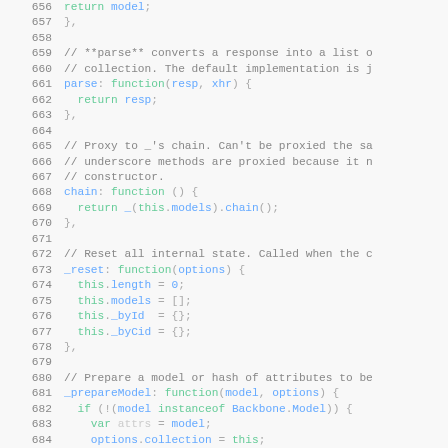Code listing lines 656-685, JavaScript source code showing Backbone.js collection methods including parse, chain, _reset, and _prepareModel